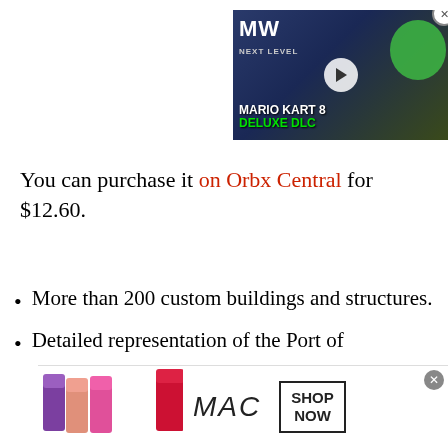[Figure (screenshot): Mario Kart 8 Deluxe DLC video thumbnail ad with MW Next Level logo, play button, Yoshi character, green text. Close button top right.]
You can purchase it on Orbx Central for $12.60.
More than 200 custom buildings and structures.
Detailed representation of the Port of
[Figure (screenshot): MAC cosmetics advertisement showing lipsticks in purple, pink shades with MAC logo and SHOP NOW button.]